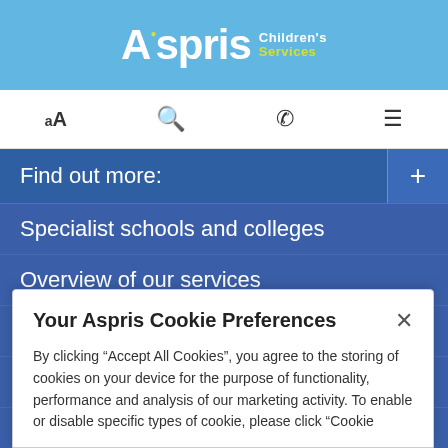Aspris Children's Services
Find out more:
Specialist schools and colleges
Overview of our services
Privacy & cookies
Local Authorities
Our specialisms
Find a location
Residential care
Your Aspris Cookie Preferences
By clicking “Accept All Cookies”, you agree to the storing of cookies on your device for the purpose of functionality, performance and analysis of our marketing activity. To enable or disable specific types of cookie, please click “Cookie